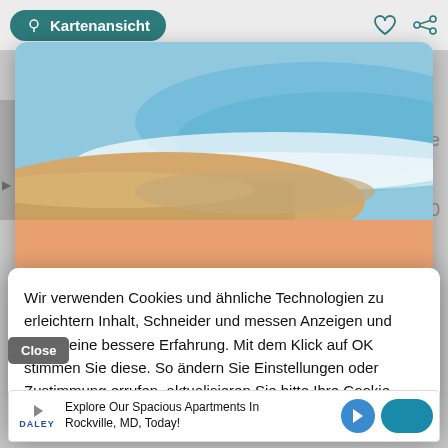[Figure (screenshot): Screenshot of a travel website showing a 'Kartenansicht' (map view) button, beach photo, orange promotional banner, cookie consent dialog, and advertisement bar.]
Kartenansicht
[Figure (photo): Aerial beach photo with sand, waves and turquoise water]
URLAUB NACH IHREN REGELN
BEACHSEARCHER INDIVIDUAL TOURS
Wir verwenden Cookies und ähnliche Technologien zu erleichtern Inhalt, Schneider und messen Anzeigen und bieten eine bessere Erfahrung. Mit dem Klick auf OK stimmen Sie diese. So ändern Sie Einstellungen oder Zustimmung errufen. aktualisieren Sie bitte Ihre Cookie-Einstellungen.
Close
Explore Our Spacious Apartments In Rockville, MD, Today!